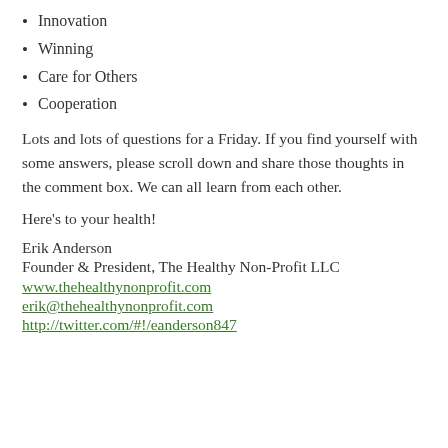Innovation
Winning
Care for Others
Cooperation
Lots and lots of questions for a Friday. If you find yourself with some answers, please scroll down and share those thoughts in the comment box. We can all learn from each other.
Here’s to your health!
Erik Anderson
Founder & President, The Healthy Non-Profit LLC
www.thehealthynonprofit.com
erik@thehealthynonprofit.com
http://twitter.com/#!/eanderson847